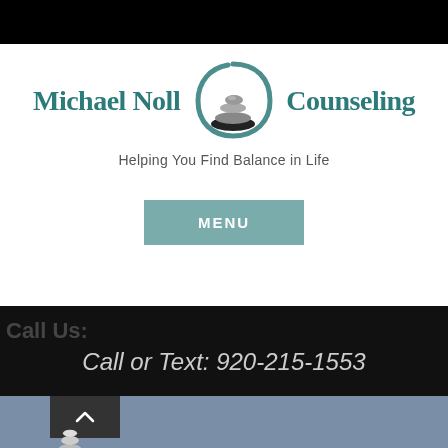[Figure (logo): Michael Noll Counseling logo with stacked zen stones in teal circle, text reads 'Michael Noll Counseling']
Helping You Find Balance in Life
MENU
Call Us:
Call or Text: 920-215-1553
slider
[Figure (photo): Bottom section showing stacked zen stones on a blue-grey misty background]